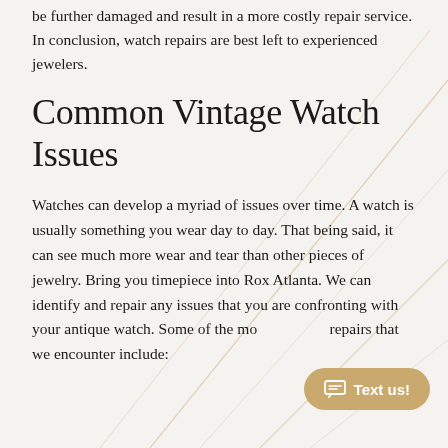be further damaged and result in a more costly repair service. In conclusion, watch repairs are best left to experienced jewelers.
Common Vintage Watch Issues
Watches can develop a myriad of issues over time. A watch is usually something you wear day to day. That being said, it can see much more wear and tear than other pieces of jewelry. Bring you timepiece into Rox Atlanta. We can identify and repair any issues that you are confronting with your antique watch. Some of the mo repairs that we encounter include: